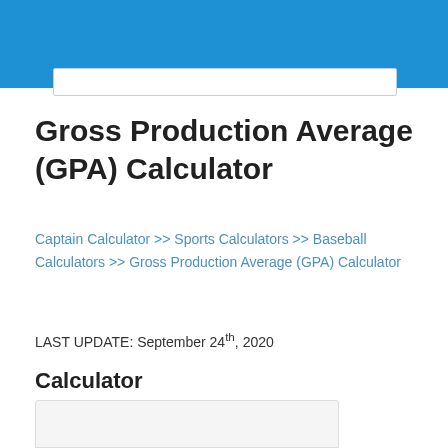Gross Production Average (GPA) Calculator
Captain Calculator >> Sports Calculators >> Baseball Calculators >> Gross Production Average (GPA) Calculator
LAST UPDATE: September 24th, 2020
Calculator